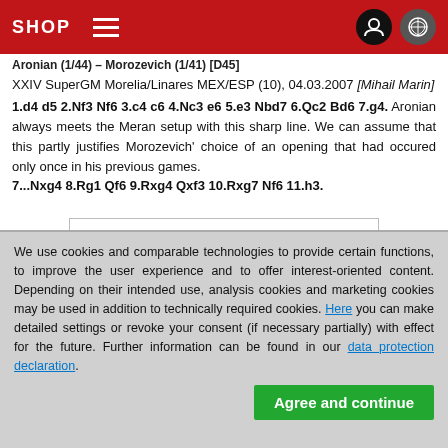SHOP
Aronian (1/44) – Morozevich (1/41) [D45]
XXIV SuperGM Morelia/Linares MEX/ESP (10), 04.03.2007 [Mihail Marin]
1.d4 d5 2.Nf3 Nf6 3.c4 c6 4.Nc3 e6 5.e3 Nbd7 6.Qc2 Bd6 7.g4. Aronian always meets the Meran setup with this sharp line. We can assume that this partly justifies Morozevich' choice of an opening that had occured only once in his previous games. 7...Nxg4 8.Rg1 Qf6 9.Rxg4 Qxf3 10.Rxg7 Nf6 11.h3.
[Figure (other): Partial chess board diagram showing rank 7 and 8 with black and white pieces]
We use cookies and comparable technologies to provide certain functions, to improve the user experience and to offer interest-oriented content. Depending on their intended use, analysis cookies and marketing cookies may be used in addition to technically required cookies. Here you can make detailed settings or revoke your consent (if necessary partially) with effect for the future. Further information can be found in our data protection declaration.